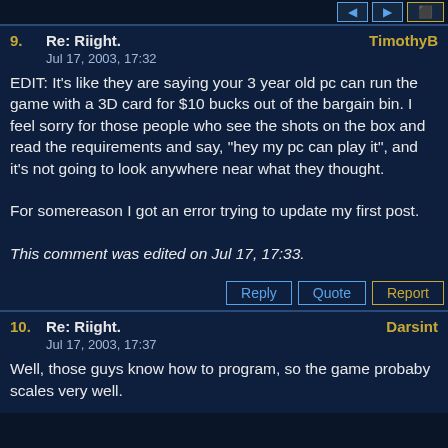[buttons at top]
9. Re: Riight. — TimothyB — Jul 17, 2003, 17:32
EDIT: It's like they are saying your 3 year old pc can run the game with a 3D card for $10 bucks out of the bargain bin. I feel sorry for those people who see the shots on the box and read the requirements and say, "hey my pc can play it", and it's not going to look anywhere near what they thought.

For somereason I got an error trying to update my first post.

This comment was edited on Jul 17, 17:33.
10. Re: Riight. — Darsint — Jul 17, 2003, 17:37
Well, those guys know how to program, so the game probaby scales very well.